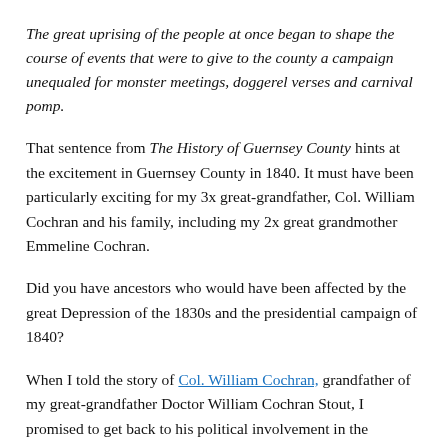The great uprising of the people at once began to shape the course of events that were to give to the county a campaign unequaled for monster meetings, doggerel verses and carnival pomp.
That sentence from The History of Guernsey County hints at the excitement in Guernsey County in 1840. It must have been particularly exciting for my 3x great-grandfather, Col. William Cochran and his family, including my 2x great grandmother Emmeline Cochran.
Did you have ancestors who would have been affected by the great Depression of the 1830s and the presidential campaign of 1840?
When I told the story of Col. William Cochran, grandfather of my great-grandfather Doctor William Cochran Stout, I promised to get back to his political involvement in the